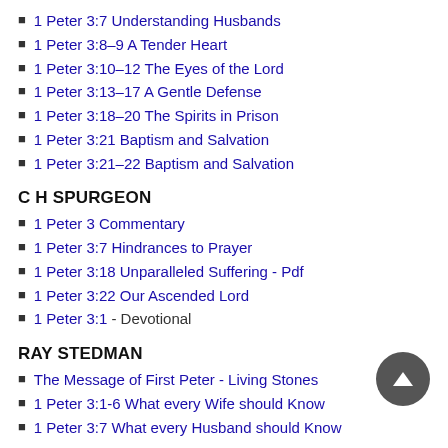1 Peter 3:7 Understanding Husbands
1 Peter 3:8–9 A Tender Heart
1 Peter 3:10–12 The Eyes of the Lord
1 Peter 3:13–17 A Gentle Defense
1 Peter 3:18–20 The Spirits in Prison
1 Peter 3:21 Baptism and Salvation
1 Peter 3:21–22 Baptism and Salvation
C H SPURGEON
1 Peter 3 Commentary
1 Peter 3:7 Hindrances to Prayer
1 Peter 3:18 Unparalleled Suffering - Pdf
1 Peter 3:22 Our Ascended Lord
1 Peter 3:1 - Devotional
RAY STEDMAN
The Message of First Peter - Living Stones
1 Peter 3:1-6 What every Wife should Know
1 Peter 3:7 What every Husband should Know